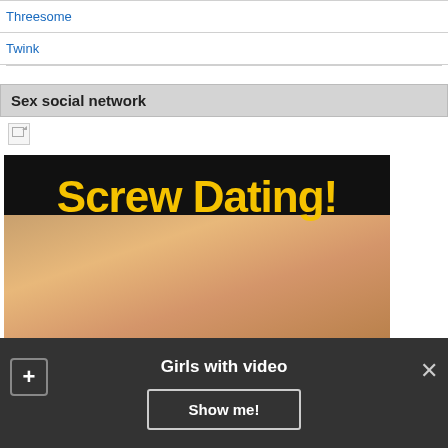Threesome
Twink
Sex social network
[Figure (photo): Advertisement banner showing 'Screw Dating!' text in yellow on black background with adult content image]
Girls with video
Show me!